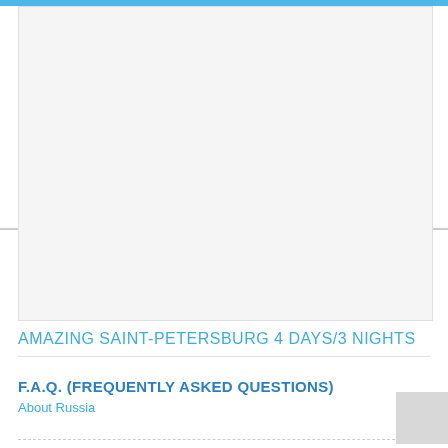[Figure (photo): Large image area placeholder for Saint-Petersburg travel photo, shown as a light gray rectangle]
AMAZING SAINT-PETERSBURG 4 DAYS/3 NIGHTS
F.A.Q. (FREQUENTLY ASKED QUESTIONS)
About Russia